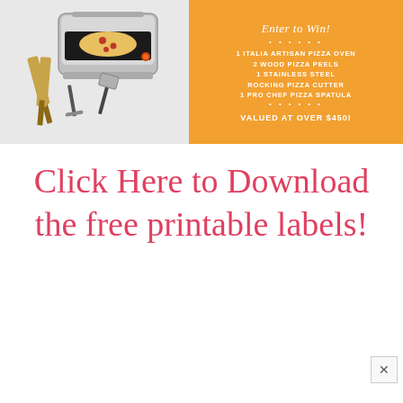[Figure (photo): Photo of Italia Artisan Pizza Oven with wood pizza peels, stainless steel rocking pizza cutter, and pro chef pizza spatula on white background]
Enter to Win!
• • • • • •
1 ITALIA ARTISAN PIZZA OVEN
2 WOOD PIZZA PEELS
1 STAINLESS STEEL
ROCKING PIZZA CUTTER
1 PRO CHEF PIZZA SPATULA
• • • • • •
VALUED AT OVER $450!
Click Here to Download the free printable labels!